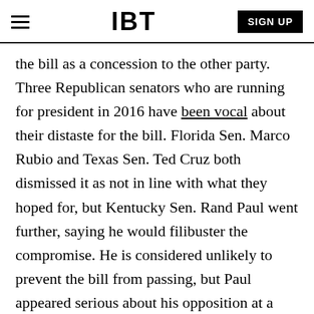IBT | SIGN UP
the bill as a concession to the other party. Three Republican senators who are running for president in 2016 have been vocal about their distaste for the bill. Florida Sen. Marco Rubio and Texas Sen. Ted Cruz both dismissed it as not in line with what they hoped for, but Kentucky Sen. Rand Paul went further, saying he would filibuster the compromise. He is considered unlikely to prevent the bill from passing, but Paul appeared serious about his opposition at a campaign stop Tuesday, the Guardian reported.